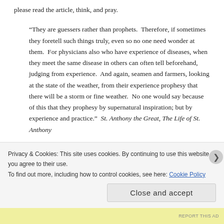please read the article, think, and pray.
“They are guessers rather than prophets.  Therefore, if sometimes they foretell such things truly, even so no one need wonder at them.  For physicians also who have experience of diseases, when they meet the same disease in others can often tell beforehand, judging from experience.  And again, seamen and farmers, looking at the state of the weather, from their experience prophesy that there will be a storm or fine weather.  No one would say because of this that they prophesy by supernatural inspiration; but by experience and practice.”  St. Anthony the Great, The Life of St. Anthony
Privacy & Cookies: This site uses cookies. By continuing to use this website, you agree to their use.
To find out more, including how to control cookies, see here: Cookie Policy
Close and accept